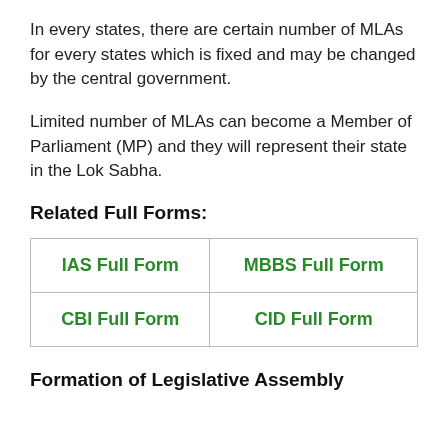In every states, there are certain number of MLAs for every states which is fixed and may be changed by the central government.
Limited number of MLAs can become a Member of Parliament (MP) and they will represent their state in the Lok Sabha.
Related Full Forms:
| IAS Full Form | MBBS Full Form |
| CBI Full Form | CID Full Form |
Formation of Legislative Assembly